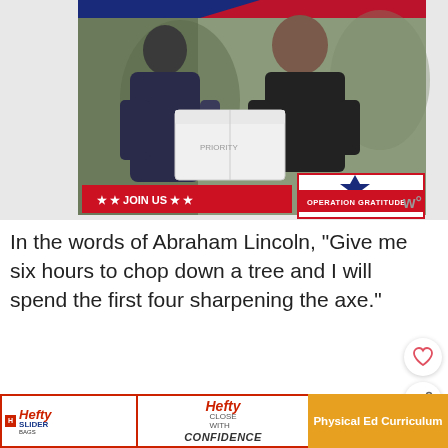[Figure (photo): Photo of a military service member receiving a package from a woman, with JOIN US banner and Operation Gratitude logo overlay]
In the words of Abraham Lincoln, “Give me six hours to chop down a tree and I will spend the first four sharpening the axe.”
Don’t underestimate planning!
It’s what gives you confidence and success!
[Figure (infographic): WHAT'S NEXT arrow label with thumbnail image and text 'Free Kindergarte...']
[Figure (infographic): Bottom advertisement: Hefty Slider Bags and Hefty Close With Confidence ad, with Physical Ed Curriculum section]